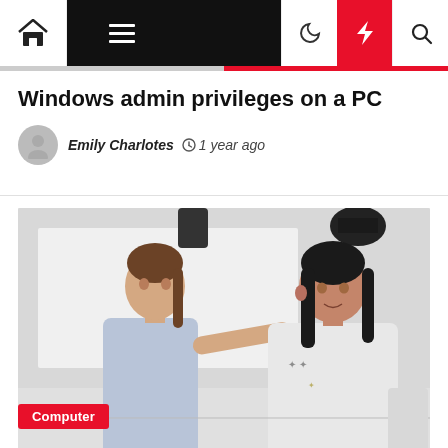Navigation bar with home, menu, moon, bolt, and search icons
Windows admin privileges on a PC
Emily Charlotes  1 year ago
[Figure (photo): Two women facing each other in conversation; one in a blue sleeveless top gestures with her hand toward the other woman in a white printed t-shirt, in a bright indoor setting.]
Computer